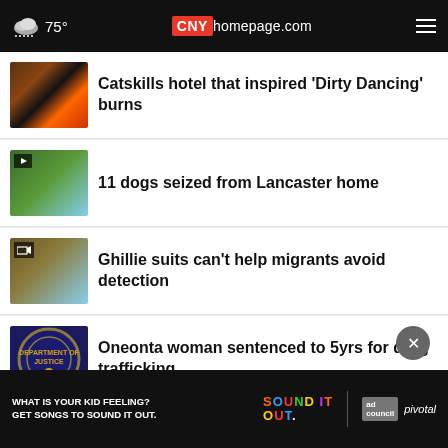75° CNYhomepage.com
Catskills hotel that inspired 'Dirty Dancing' burns
11 dogs seized from Lancaster home
Ghillie suits can't help migrants avoid detection
Oneonta woman sentenced to 5yrs for drug trafficking
More Stories ›
[Figure (screenshot): Ad banner: WHAT IS YOUR KID FEELING? GET SONGS TO SOUND IT OUT. Sound It Out ad council pivotal]